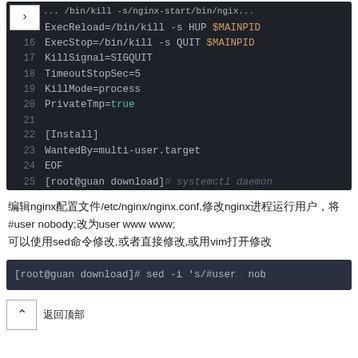[Figure (screenshot): Code editor screenshot showing lines 15-25 of a systemd service file. Lines 15-16 show ExecReload and ExecStop with $MAINPID in orange. Lines 17-20 show KillSignal, TimeoutStopSec, KillMode, PrivateTmp (true in cyan). Lines 22-23 show [Install] section and WantedBy. Line 24 shows EOF. Line 25 shows a shell prompt with systemctl daemon command.]
编辑nginx配置文件/etc/nginx/nginx.conf,修改nginx进程运行用户，将#user nobody;改为user www www; 可以使用sed命令修改,或者直接修改,或用vim打开修改
[Figure (screenshot): Terminal screenshot showing command: [root@guan download]# sed -i 's/#user  nob]
返回顶部